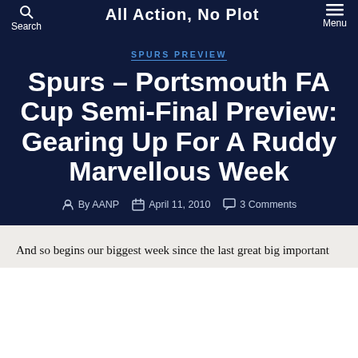All Action, No Plot
SPURS PREVIEW
Spurs – Portsmouth FA Cup Semi-Final Preview: Gearing Up For A Ruddy Marvellous Week
By AANP  April 11, 2010  3 Comments
And so begins our biggest week since the last great big important